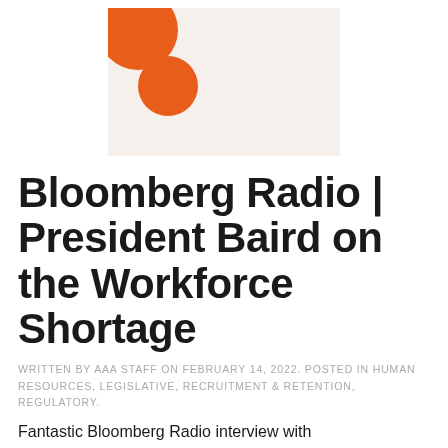[Figure (photo): Abstract photo showing a notebook or book with orange circular shapes on a cream/beige background]
Bloomberg Radio | President Baird on the Workforce Shortage
WRITTEN BY AAA STAFF ON FEBRUARY 14, 2022. POSTED IN HUMAN RESOURCES, LEGISLATIVE, RECRUITMENT & RETENTION, REGULATORY.
Fantastic Bloomberg Radio interview with